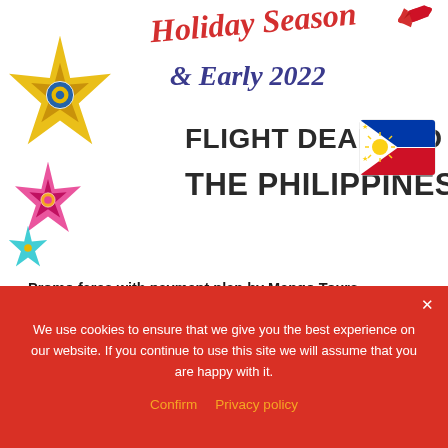[Figure (illustration): Decorative banner with colorful parol stars, Philippine flag, and text reading 'Holiday Season & Early 2022 FLIGHT DEALS TO THE PHILIPPINES']
Promo fares with payment plan by Mango Tours
Popular RT Flight Deals Find all of the best and latest deals on flights traveling to the Philippines and many more! Choose your favorite
We use cookies to ensure that we give you the best experience on our website. If you continue to use this site we will assume that you are happy with it. Confirm  Privacy policy